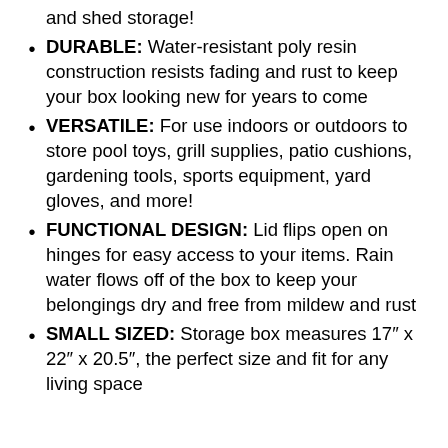and shed storage!
DURABLE: Water-resistant poly resin construction resists fading and rust to keep your box looking new for years to come
VERSATILE: For use indoors or outdoors to store pool toys, grill supplies, patio cushions, gardening tools, sports equipment, yard gloves, and more!
FUNCTIONAL DESIGN: Lid flips open on hinges for easy access to your items. Rain water flows off of the box to keep your belongings dry and free from mildew and rust
SMALL SIZED: Storage box measures 17″ x 22″ x 20.5″, the perfect size and fit for any living space